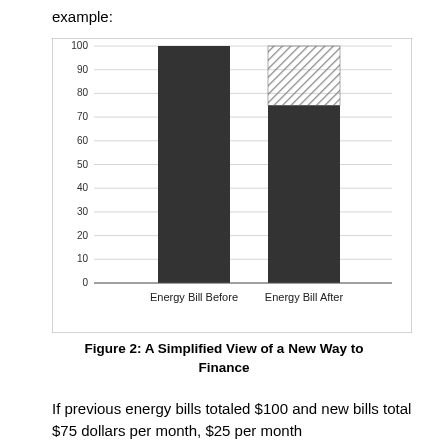example:
[Figure (stacked-bar-chart): ]
Figure 2: A Simplified View of a New Way to Finance
If previous energy bills totaled $100 and new bills total $75 dollars per month, $25 per month